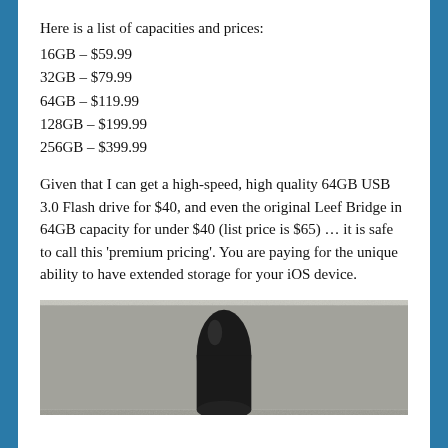Here is a list of capacities and prices:
16GB – $59.99
32GB – $79.99
64GB – $119.99
128GB – $199.99
256GB – $399.99
Given that I can get a high-speed, high quality 64GB USB 3.0 Flash drive for $40, and even the original Leef Bridge in 64GB capacity for under $40 (list price is $65) … it is safe to call this 'premium pricing'. You are paying for the unique ability to have extended storage for your iOS device.
[Figure (photo): Photo of a black USB flash drive connector against a textured light grey background]